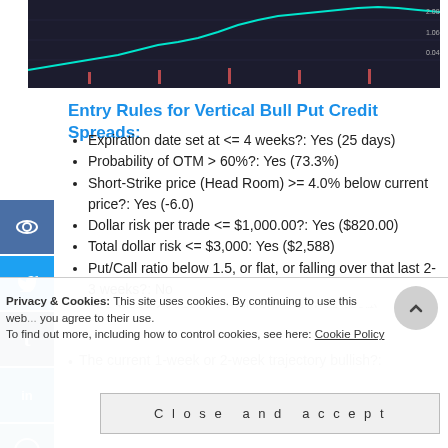[Figure (screenshot): Dark background stock/financial chart with price line and volume bars visible at the top of the page]
Entry Rules for Vertical Bull Put Credit Spreads:
Expiration date set at <= 4 weeks?: Yes (25 days)
Probability of OTM > 60%?: Yes (73.3%)
Short-Strike price (Head Room) >= 4.0% below current price?: Yes (-6.0)
Dollar risk per trade <= $1,000.00?: Yes ($820.00)
Total dollar risk <= $3,000: Yes ($2,588)
Put/Call ratio below 1.5, or flat, or falling over that last 2-3 weeks?: No
The Trend Channel is Bullish?: Yes (See chart)
The current 1-week or 2-week trajectory bullish?:
Privacy & Cookies: This site uses cookies. By continuing to use this web... you agree to their use. To find out more, including how to control cookies, see here: Cookie Policy
Close and accept